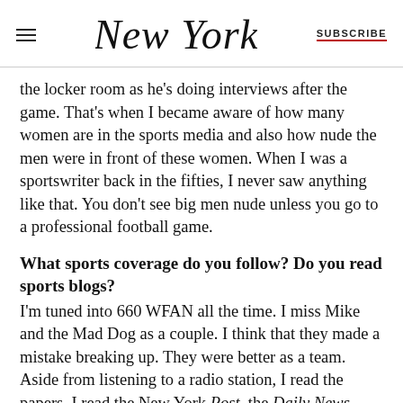NEW YORK  |  SUBSCRIBE
the locker room as he’s doing interviews after the game. That’s when I became aware of how many women are in the sports media and also how nude the men were in front of these women. When I was a sportswriter back in the fifties, I never saw anything like that. You don’t see big men nude unless you go to a professional football game.
What sports coverage do you follow? Do you read sports blogs?
I’m tuned into 660 WFAN all the time. I miss Mike and the Mad Dog as a couple. I think that they made a mistake breaking up. They were better as a team. Aside from listening to a radio station, I read the papers. I read the New York Post, the Daily News,